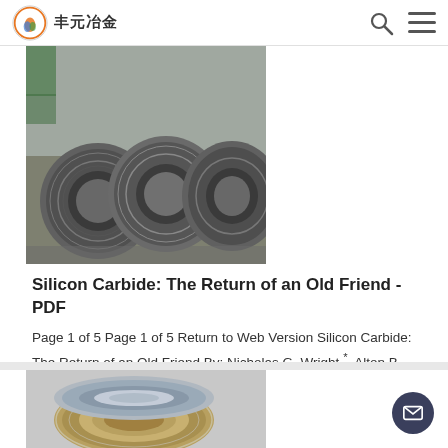丰元冶金 [logo]
[Figure (photo): Coiled metallic wire/rod rolls stacked in an industrial warehouse setting, gray metallic color]
Silicon Carbide: The Return of an Old Friend - PDF
Page 1 of 5 Page 1 of 5 Return to Web Version Silicon Carbide: The Return of an Old Friend By: Nicholas G. Wright *, Alton B. Horsfall,
[Figure (photo): Coiled metallic wire/strip in industrial packaging with plastic wrap, gold/silver color]